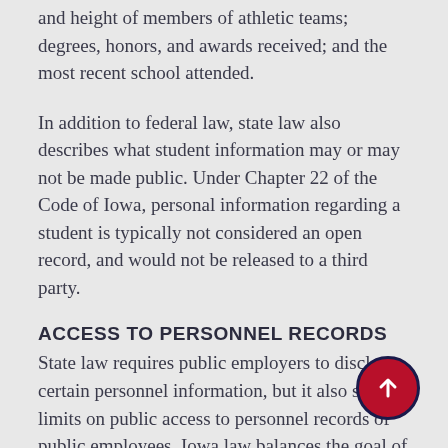and height of members of athletic teams; degrees, honors, and awards received; and the most recent school attended.
In addition to federal law, state law also describes what student information may or may not be made public. Under Chapter 22 of the Code of Iowa, personal information regarding a student is typically not considered an open record, and would not be released to a third party.
ACCESS TO PERSONNEL RECORDS
State law requires public employers to disclose certain personnel information, but it also sets limits on public access to personnel records of public employees. Iowa law balances the goal of public accountability with the privacy and security interests of public employees. The